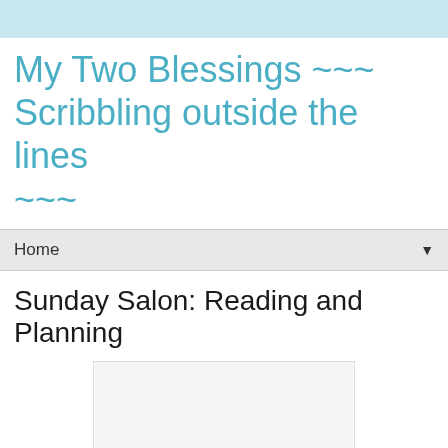My Two Blessings ~~~ Scribbling outside the lines ~~~
Home
Sunday Salon: Reading and Planning
[Figure (photo): A white/light gray rectangular image placeholder below the post title]